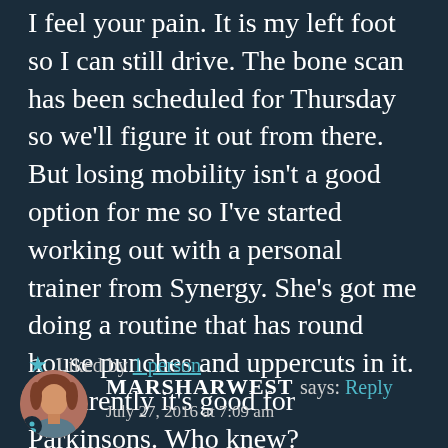I feel your pain. It is my left foot so I can still drive. The bone scan has been scheduled for Thursday so we'll figure it out from there. But losing mobility isn't a good option for me so I've started working out with a personal trainer from Synergy. She's got me doing a routine that has round house punches and uppercuts in it. Apparently it's good for Parkinsons. Who knew?
★ Liked by 1 person
[Figure (photo): Avatar photo of commenter MARSHARWEST showing a person with reddish-brown hair]
MARSHARWEST says: Reply
July 27, 2016 at 7:09 am